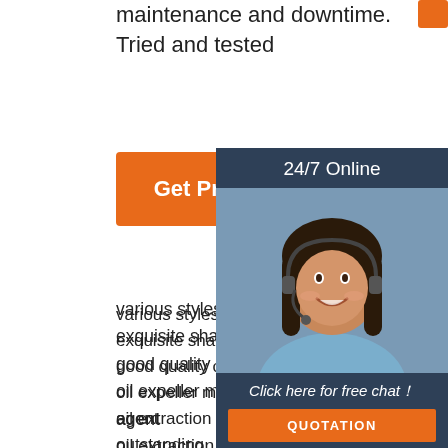maintenance and downtime. Tried and tested
[Figure (other): Orange button (partial, top)]
[Figure (other): Get Price orange button]
[Figure (other): 24/7 Online chat widget with woman wearing headset, Click here for free chat!, QUOTATION button]
various styles mini rice mill philippin
exquisite shape rice peeling machin
good quality cold press oil seed ma
oil expeller machine angola exclusive agent
oil extraction machine price burkina faso outstanding
price rice huller machine burkina faso good service
[Figure (other): TOP icon with orange dots triangle]